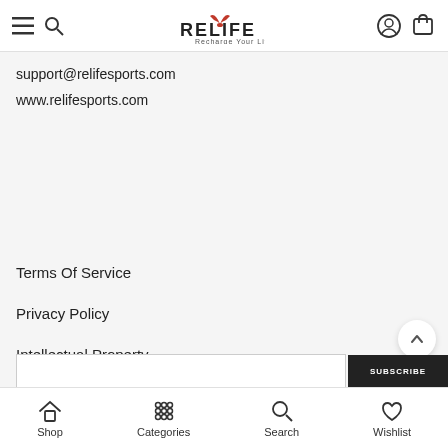RELIFE - Recharge Your Life navigation header with menu, search, logo, account, cart icons
support@relifesports.com
www.relifesports.com
Terms Of Service
Privacy Policy
Intellectual Property
Transport Information
Refund And Return Policy
Shop  Categories  Search  Wishlist